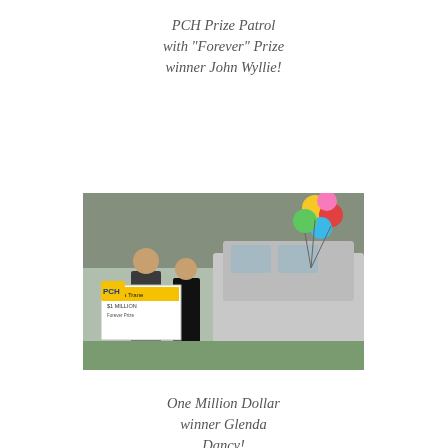PCH Prize Patrol with “Forever” Prize winner John Wyllie!
[Figure (photo): Photo of PCH Prize Patrol visit with John Wyllie, showing people outdoors]
One Million Dollar winner Glenda Dancy!
[Figure (photo): Photo of Glenda Dancy with PCH prize patrol, balloons, and a large check sign near a car]
Greg Garcia with his $15,000 Big
[Figure (photo): Photo of Greg Garcia holding a large check for $15,000 with balloons and flowers]